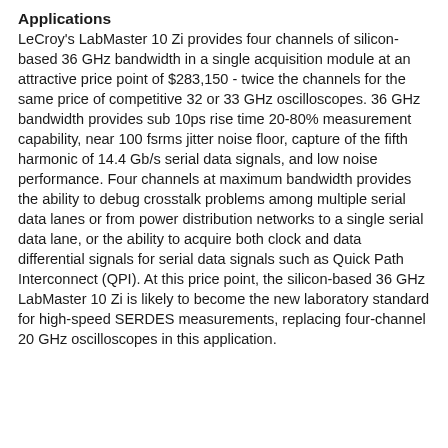Applications
LeCroy's LabMaster 10 Zi provides four channels of silicon-based 36 GHz bandwidth in a single acquisition module at an attractive price point of $283,150 - twice the channels for the same price of competitive 32 or 33 GHz oscilloscopes. 36 GHz bandwidth provides sub 10ps rise time 20-80% measurement capability, near 100 fsrms jitter noise floor, capture of the fifth harmonic of 14.4 Gb/s serial data signals, and low noise performance. Four channels at maximum bandwidth provides the ability to debug crosstalk problems among multiple serial data lanes or from power distribution networks to a single serial data lane, or the ability to acquire both clock and data differential signals for serial data signals such as Quick Path Interconnect (QPI). At this price point, the silicon-based 36 GHz LabMaster 10 Zi is likely to become the new laboratory standard for high-speed SERDES measurements, replacing four-channel 20 GHz oscilloscopes in this application.